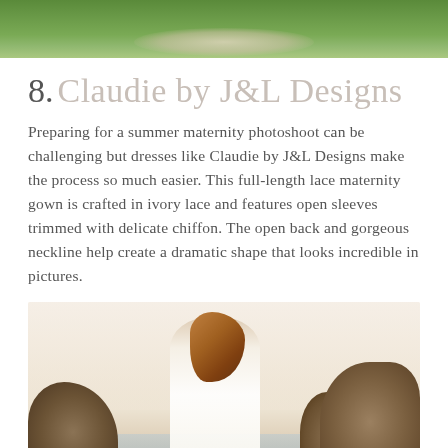[Figure (photo): Top portion of an outdoor photo showing green grass, partially cropped, with what appears to be a figure in light-colored clothing at the bottom edge.]
8. Claudie by J&L Designs
Preparing for a summer maternity photoshoot can be challenging but dresses like Claudie by J&L Designs make the process so much easier. This full-length lace maternity gown is crafted in ivory lace and features open sleeves trimmed with delicate chiffon. The open back and gorgeous neckline help create a dramatic shape that looks incredible in pictures.
[Figure (photo): A pregnant woman in a white lace gown sitting on rocks at a beach during golden hour, with rocks and ocean water visible in the background.]